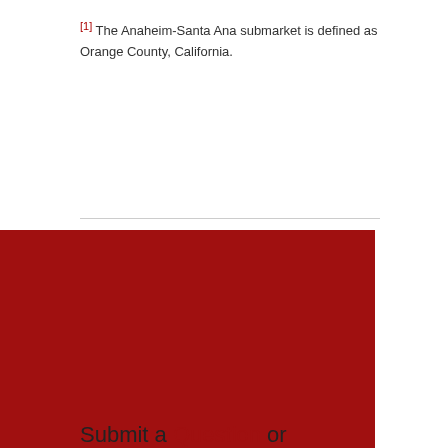[1] The Anaheim-Santa Ana submarket is defined as Orange County, California.
This website uses cookies to ensure you get the best experience on our website. Learn more
Got it!
Submit a Question or